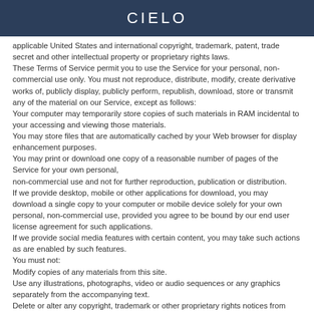CIELO
applicable United States and international copyright, trademark, patent, trade secret and other intellectual property or proprietary rights laws.
These Terms of Service permit you to use the Service for your personal, non-commercial use only. You must not reproduce, distribute, modify, create derivative works of, publicly display, publicly perform, republish, download, store or transmit any of the material on our Service, except as follows:
Your computer may temporarily store copies of such materials in RAM incidental to your accessing and viewing those materials.
You may store files that are automatically cached by your Web browser for display enhancement purposes.
You may print or download one copy of a reasonable number of pages of the Service for your own personal,
non-commercial use and not for further reproduction, publication or distribution.
If we provide desktop, mobile or other applications for download, you may download a single copy to your computer or mobile device solely for your own personal, non-commercial use, provided you agree to be bound by our end user license agreement for such applications.
If we provide social media features with certain content, you may take such actions as are enabled by such features.
You must not:
Modify copies of any materials from this site.
Use any illustrations, photographs, video or audio sequences or any graphics separately from the accompanying text.
Delete or alter any copyright, trademark or other proprietary rights notices from copies of materials from the Service.
You must not access or use for any commercial purposes any part of the Service or any services or materials available through the Service. If you print, copy, modify, download or otherwise use or provide any other person with access to any part of the Service in breach of these Terms of Service, your